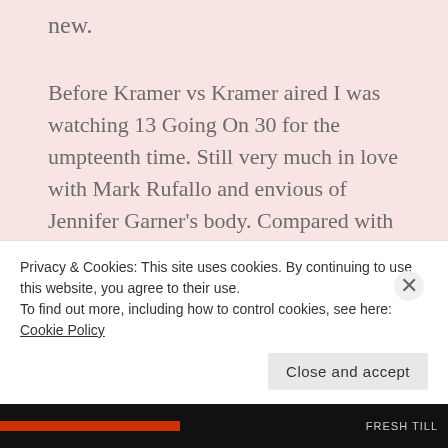new.
Before Kramer vs Kramer aired I was watching 13 Going On 30 for the umpteenth time. Still very much in love with Mark Rufallo and envious of Jennifer Garner's body. Compared with Kramer vs Kramer, 13 Going On 30 is just child's play. But I still love it. Kramer vs Kramer on the other hand really displays Meryl Streep and Dustin Hoffman's superb acting. A movie about everyday life gives a huge burden on the actors. No gimmicks, no armies of native Indians to hide behind. In such plain settings the actors and actresses' talents are on display. The main event, so to speak. They have to act naturally
Privacy & Cookies: This site uses cookies. By continuing to use this website, you agree to their use.
To find out more, including how to control cookies, see here: Cookie Policy
Close and accept
FRESH TILL